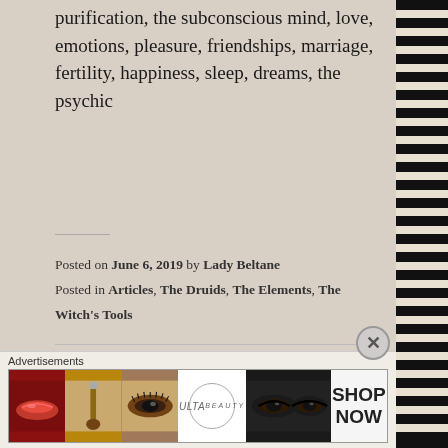purification, the subconscious mind, love, emotions, pleasure, friendships, marriage, fertility, happiness, sleep, dreams, the psychic
Posted on June 6, 2019 by Lady Beltane
Posted in Articles, The Druids, The Elements, The Witch's Tools
Daily Tarot Card
6/6/2019
Advertisements